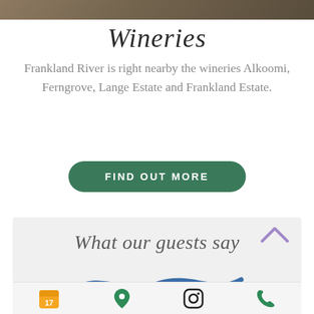[Figure (photo): Top photo strip showing a dark brown/earthy landscape image cropped to a thin horizontal band]
Wineries
Frankland River is right nearby the wineries Alkoomi, Ferngrove, Lange Estate and Frankland Estate.
FIND OUT MORE
What our guests say
[Figure (illustration): Blue wave / swoosh decorative divider line]
Cherie
[Figure (infographic): Bottom navigation bar with four icons: calendar (yellow), location pin (green), Instagram logo (black), phone (green)]